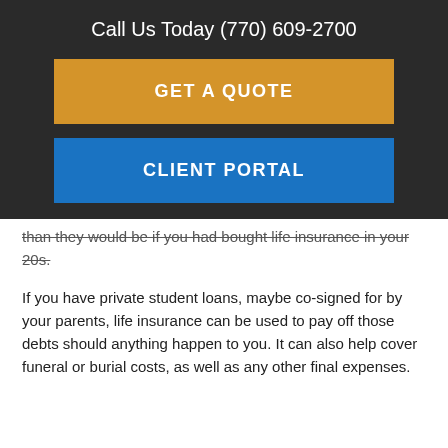Call Us Today (770) 609-2700
GET A QUOTE
CLIENT PORTAL
than they would be if you had bought life insurance in your 20s.
If you have private student loans, maybe co-signed for by your parents, life insurance can be used to pay off those debts should anything happen to you. It can also help cover funeral or burial costs, as well as any other final expenses.